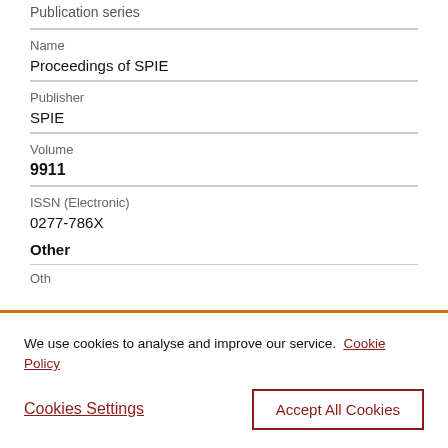Publication series
| Field | Value |
| --- | --- |
| Name | Proceedings of SPIE |
| Publisher | SPIE |
| Volume | 9911 |
| ISSN (Electronic) | 0277-786X |
Other
We use cookies to analyse and improve our service. Cookie Policy
Cookies Settings
Accept All Cookies